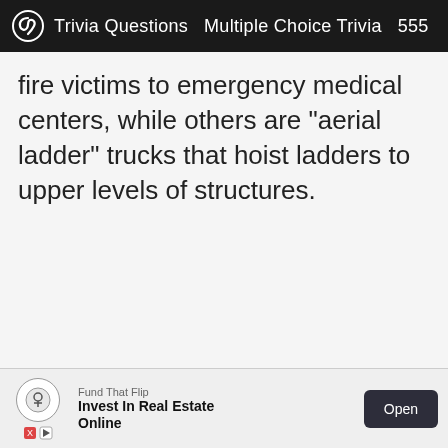Trivia Questions  Multiple Choice Trivia  555
fire victims to emergency medical centers, while others are "aerial ladder" trucks that hoist ladders to upper levels of structures.
[Figure (other): Advertisement banner: Fund That Flip — Invest In Real Estate Online, with Open button]